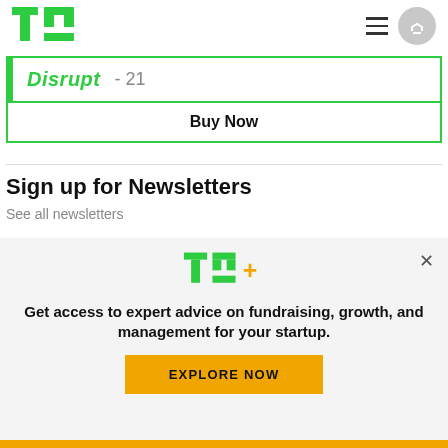TechCrunch header with logo, hamburger menu and user button
Disrupt - 21
Buy Now
Sign up for Newsletters
See all newsletters
[Figure (logo): TC+ logo in green and orange]
Get access to expert advice on fundraising, growth, and management for your startup.
EXPLORE NOW